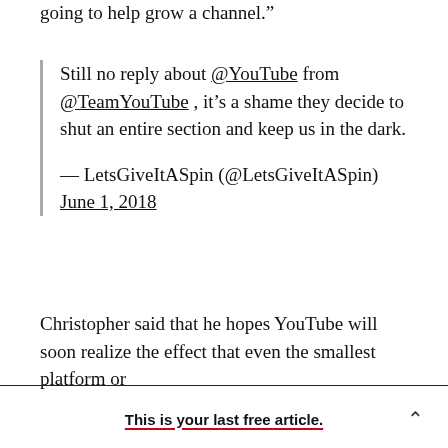going to help grow a channel.”
Still no reply about @YouTube from @TeamYouTube , it’s a shame they decide to shut an entire section and keep us in the dark.

— LetsGiveItASpin (@LetsGiveItASpin) June 1, 2018
Christopher said that he hopes YouTube will soon realize the effect that even the smallest platform or
This is your last free article.